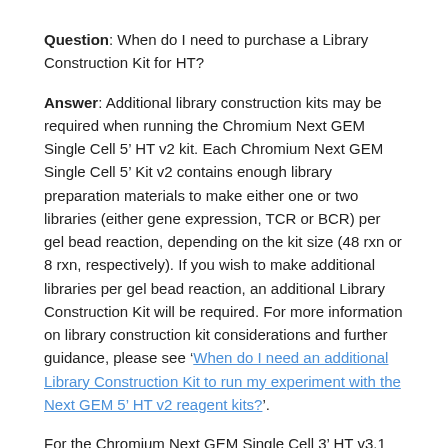Question: When do I need to purchase a Library Construction Kit for HT?
Answer: Additional library construction kits may be required when running the Chromium Next GEM Single Cell 5’ HT v2 kit. Each Chromium Next GEM Single Cell 5’ Kit v2 contains enough library preparation materials to make either one or two libraries (either gene expression, TCR or BCR) per gel bead reaction, depending on the kit size (48 rxn or 8 rxn, respectively). If you wish to make additional libraries per gel bead reaction, an additional Library Construction Kit will be required. For more information on library construction kit considerations and further guidance, please see ‘When do I need an additional Library Construction Kit to run my experiment with the Next GEM 5’ HT v2 reagent kits?’.
For the Chromium Next GEM Single Cell 3’ HT v3.1 kit